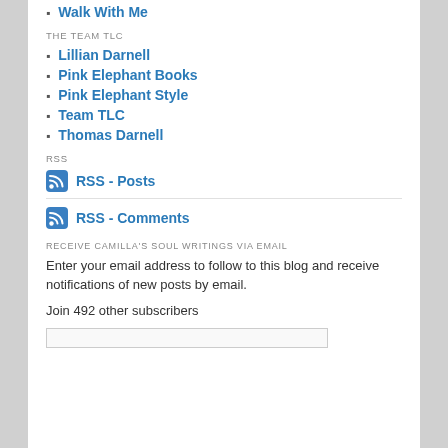Walk With Me
THE TEAM TLC
Lillian Darnell
Pink Elephant Books
Pink Elephant Style
Team TLC
Thomas Darnell
RSS
RSS - Posts
RSS - Comments
RECEIVE CAMILLA'S SOUL WRITINGS VIA EMAIL
Enter your email address to follow to this blog and receive notifications of new posts by email.
Join 492 other subscribers